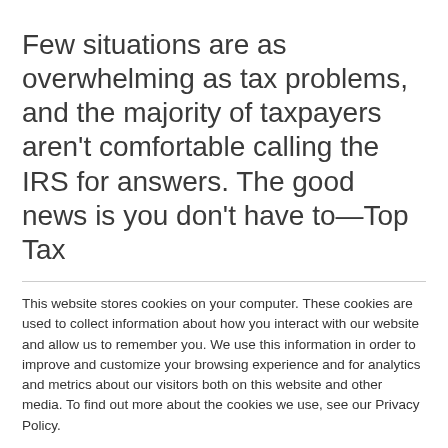Few situations are as overwhelming as tax problems, and the majority of taxpayers aren't comfortable calling the IRS for answers. The good news is you don't have to—Top Tax
This website stores cookies on your computer. These cookies are used to collect information about how you interact with our website and allow us to remember you. We use this information in order to improve and customize your browsing experience and for analytics and metrics about our visitors both on this website and other media. To find out more about the cookies we use, see our Privacy Policy.
If you decline, your information won't be tracked when you visit this website. A single cookie will be used in your browser to remember your preference not to be tracked.